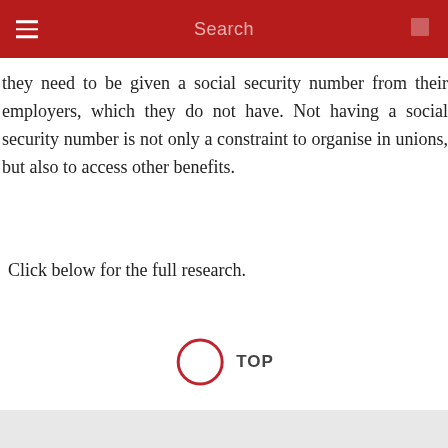Search
they need to be given a social security number from their employers, which they do not have. Not having a social security number is not only a constraint to organise in unions, but also to access other benefits.
Click below for the full research.
English version
[Figure (other): TOP button with circle arrow icon and label TOP]